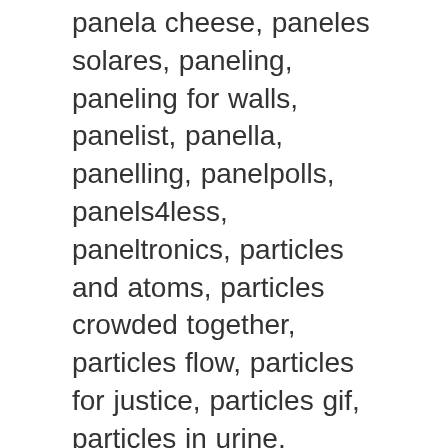panela cheese, paneles solares, paneling, paneling for walls, panelist, panella, panelling, panelpolls, panels4less, paneltronics, particles and atoms, particles crowded together, particles flow, particles for justice, particles gif, particles in urine, particles in urine female, particles in wood smoke, particles life, particles linguistics, particles list, particles lyrics, particles mod, particles of a liquid, particles of dark matter, particles of faith trasancos, particles particles, particles png, particles react npm, particles smaller than quark, particles synonym, particles.js, particleshop, particleshop corel, serums 101, serums 2019, serums 76, serums anoka menu, serums bar, serums def, serums